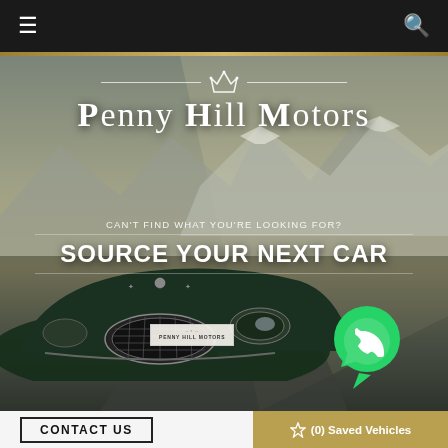[Figure (screenshot): Navigation bar with hamburger menu icon on left and search icon on right, dark background]
[Figure (photo): Hero banner showing Bentley luxury car driving on road with mountain backdrop and Penny Hill Motors branding overlay with crown logo, tagline 'CAN'T FIND WHAT YOU'RE LOOKING FOR?' and call-to-action 'SOURCE YOUR NEXT CAR', WhatsApp button, and Penny Hill Motors dealer badge on car]
PENNY HILL MOTORS
CAN'T FIND WHAT YOU'RE LOOKING FOR?
SOURCE YOUR NEXT CAR
CONTACT US
(0) Saved Vehicles